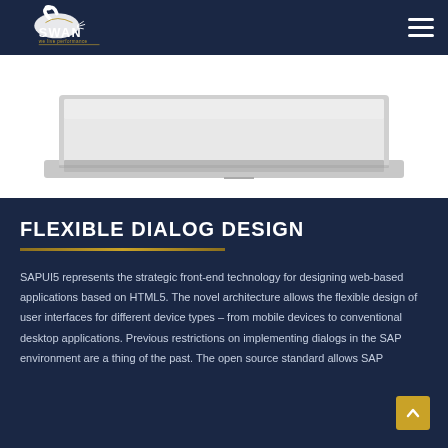SWAN — we live performance
[Figure (photo): Laptop computer shown from above/side angle on white background]
FLEXIBLE DIALOG DESIGN
SAPUI5 represents the strategic front-end technology for designing web-based applications based on HTML5. The novel architecture allows the flexible design of user interfaces for different device types – from mobile devices to conventional desktop applications. Previous restrictions on implementing dialogs in the SAP environment are a thing of the past. The open source standard allows SAP